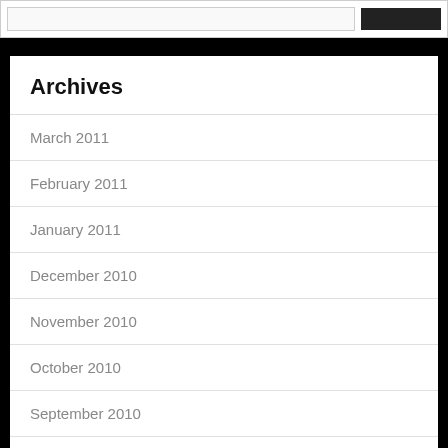Archives
March 2011
February 2011
January 2011
December 2010
November 2010
October 2010
September 2010
August 2010